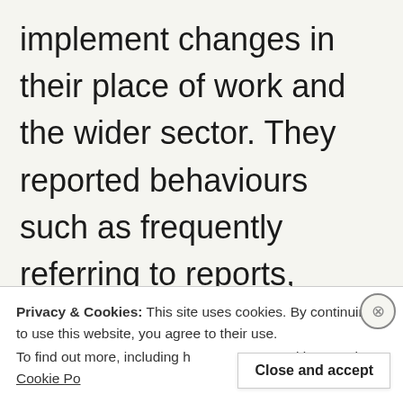implement changes in their place of work and the wider sector. They reported behaviours such as frequently referring to reports, pulling off their own data reports from software, and completing non mandatory data returns. On the other side of the coin, the
Privacy & Cookies: This site uses cookies. By continuing to use this website, you agree to their use.
To find out more, including h cookies, see here: Cookie Po
Close and accept